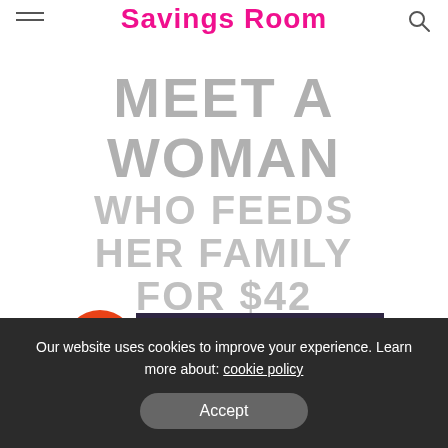Savings Room
[Figure (illustration): Large faded grey text spelling out 'MEET A WOMAN WHO FEEDS HER FAMILY FOR $42 A WEEK' with ABC Radio Hobart and Evenings with Louise Saunders logos below]
Our website uses cookies to improve your experience. Learn more about: cookie policy
Accept